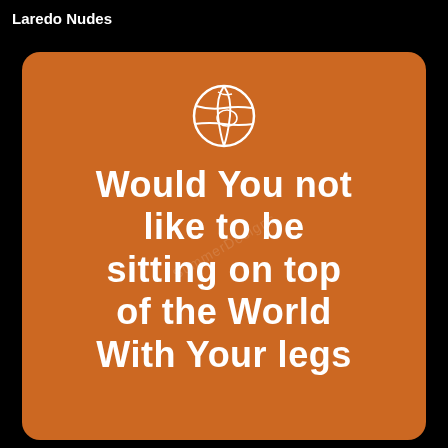Laredo Nudes
[Figure (illustration): Orange card with rounded corners on black background. Contains a white hand-drawn globe icon at the top and white handwritten-style text reading: Would You not like to be sitting on top of the World With Your legs. Faint watermark text visible diagonally.]
Would You not like to be sitting on top of the World With Your legs